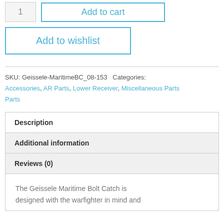1
Add to cart
Add to wishlist
SKU: Geissele-MaritimeBC_08-153 Categories: Accessories, AR Parts, Lower Receiver, Miscellaneous Parts, Parts
Description
Additional information
Reviews (0)
The Geissele Maritime Bolt Catch is designed with the warfighter in mind and